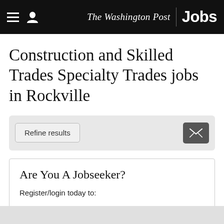The Washington Post Jobs
Construction and Skilled Trades Specialty Trades jobs in Rockville
Refine results
Are You A Jobseeker?
Register/login today to:
View saved jobs
View applications